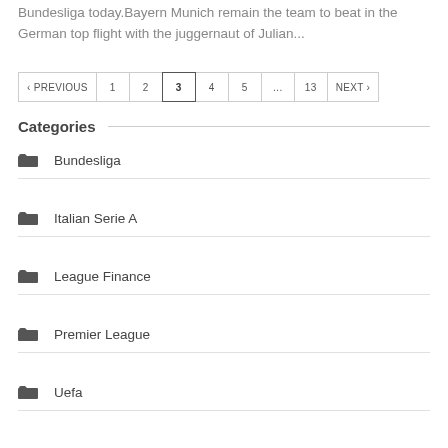Bundesliga today.Bayern Munich remain the team to beat in the German top flight with the juggernaut of Julian...
< PREVIOUS  1  2  3  4  5  ...  13  NEXT >
Categories
Bundesliga
Italian Serie A
League Finance
Premier League
Uefa
ac milan  bayern munich  borussia dortmund  champions league  europa league  european football  group stage  league games  manchester city  manchester united  premier league